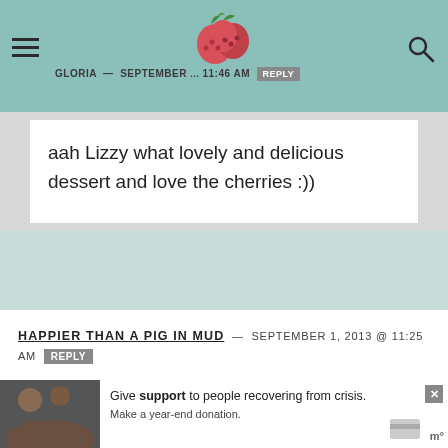GLORIA — SEPTEMBER ... 11:46 AM REPLY
aah Lizzy what lovely and delicious dessert and love the cherries :))
HAPPIER THAN A PIG IN MUD — SEPTEMBER 1, 2013 @ 11:25 AM  REPLY
Very pretty, I love those little dishes! Happy Labor Day Weekend-enjoy:@)
ROZ — SEPTEMBER 1, 2013 @ 11:09 AM  REPLY
Give support to people recovering from crisis. Make a year-end donation.